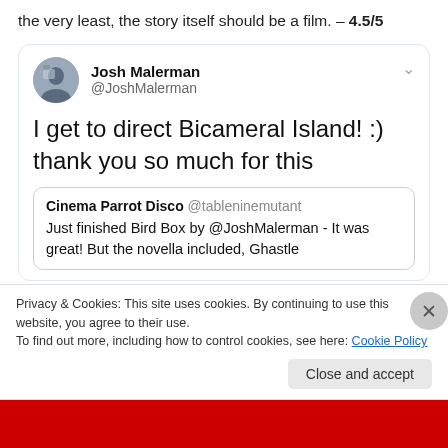the very least, the story itself should be a film. – 4.5/5
[Figure (screenshot): Tweet by Josh Malerman (@JoshMalerman) with circular avatar photo. Chevron/dropdown icon at top right. Tweet text: 'I get to direct Bicameral Island! :) thank you so much for this'. Quoted tweet from Cinema Parrot Disco @tableninemutant: 'Just finished Bird Box by @JoshMalerman - It was great! But the novella included, Ghastle']
Privacy & Cookies: This site uses cookies. By continuing to use this website, you agree to their use.
To find out more, including how to control cookies, see here: Cookie Policy